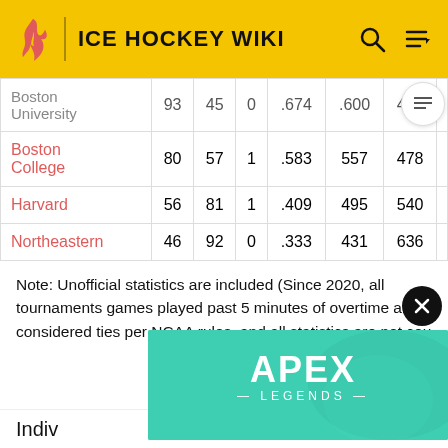ICE HOCKEY WIKI
| Team | W | L | T | Pct | GF | GA |
| --- | --- | --- | --- | --- | --- | --- |
| Boston University | 93 | 45 | 0 | .674 | .600 | 435 |
| Boston College | 80 | 57 | 1 | .583 | 557 | 478 |
| Harvard | 56 | 81 | 1 | .409 | 495 | 540 |
| Northeastern | 46 | 92 | 0 | .333 | 431 | 636 |
Note: Unofficial statistics are included (Since 2020, all tournaments games played past 5 minutes of overtime are considered ties per NCAA rules, and all statistics are not cou...
[Figure (screenshot): Apex Legends advertisement banner with character holding a sniper rifle on teal background]
Indiv